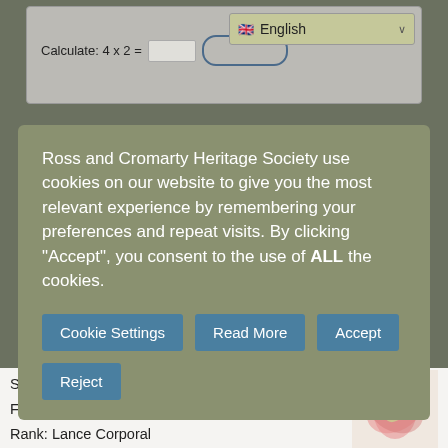[Figure (screenshot): CAPTCHA box with 'Calculate: 4 x 2 =' text input and submit button, and a language selector dropdown showing English flag]
Ross and Cromarty Heritage Society use cookies on our website to give you the most relevant experience by remembering your preferences and repeat visits. By clicking “Accept”, you consent to the use of ALL the cookies.
Cookie Settings | Read More | Accept | Reject
Surname: Macdonald
First Name(s): Finlay
Rank: Lance Corporal
Regiment: Seaforths
Home Address: The Shore, Inveralligin, Torridon